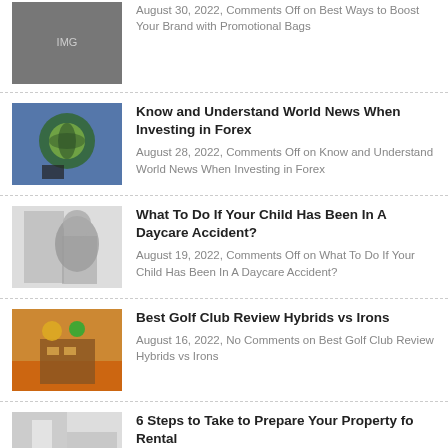August 30, 2022, Comments Off on Best Ways to Boost Your Brand with Promotional Bags
Know and Understand World News When Investing in Forex
August 28, 2022, Comments Off on Know and Understand World News When Investing in Forex
What To Do If Your Child Has Been In A Daycare Accident?
August 19, 2022, Comments Off on What To Do If Your Child Has Been In A Daycare Accident?
Best Golf Club Review Hybrids vs Irons
August 16, 2022, No Comments on Best Golf Club Review Hybrids vs Irons
6 Steps to Take to Prepare Your Property for Rental
August 11, 2022, Comments Off on 6 Steps to Take to Prepare Your Property for Rental
How to Improve Your Chances of Winning a Personal Injury Case